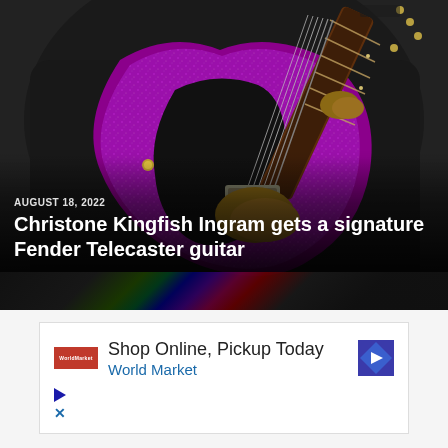[Figure (photo): Person wearing a black shirt playing a purple/magenta sparkle Fender Telecaster-style electric guitar with a black pickguard, photographed from the torso down. Background is dark/blurred.]
AUGUST 18, 2022
Christone Kingfish Ingram gets a signature Fender Telecaster guitar
[Figure (infographic): Advertisement: Shop Online, Pickup Today - World Market, with red logo, blue navigation arrow icon, and play/close controls.]